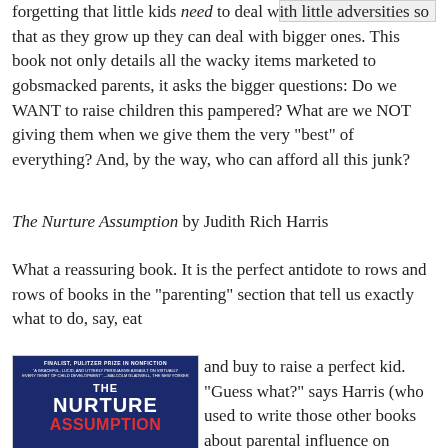[Figure (other): Small image placeholder in top right corner]
forgetting that little kids need to deal with little adversities so that as they grow up they can deal with bigger ones. This book not only details all the wacky items marketed to gobsmacked parents, it asks the bigger questions: Do we WANT to raise children this pampered? What are we NOT giving them when we give them the very "best" of everything? And, by the way, who can afford all this junk?
The Nurture Assumption by Judith Rich Harris
What a reassuring book. It is the perfect antidote to rows and rows of books in the "parenting" section that tell us exactly what to do, say, eat and buy to raise a perfect kid. "Guess what?" says Harris (who used to write those other books about parental influence on
[Figure (photo): Book cover of The Nurture Assumption - dark blue background with white and red text. Top reads FINALIST, PULITZER PRIZE IN NONFICTION. Below is a quote. Large text reads THE NURTURE in white, and ASSUMPTION in red.]